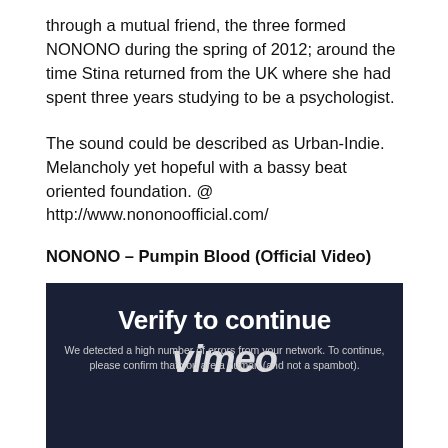through a mutual friend, the three formed NONONO during the spring of 2012; around the time Stina returned from the UK where she had spent three years studying to be a psychologist.
The sound could be described as Urban-Indie. Melancholy yet hopeful with a bassy beat oriented foundation. @ http://www.nononoofficial.com/
NONONO – Pumpin Blood (Official Video)
[Figure (screenshot): Vimeo video embed showing a 'Verify to continue' screen with Vimeo logo and text: 'We detected a high number of errors from your network. To continue, please confirm that you are a human (and not a spambot).']